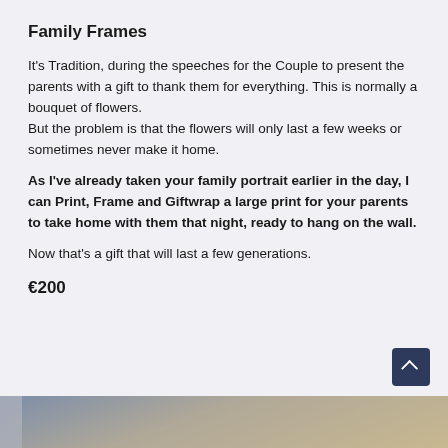Family Frames
It's Tradition, during the speeches for the Couple to present the parents with a gift to thank them for everything. This is normally a bouquet of flowers.
But the problem is that the flowers will only last a few weeks or sometimes never make it home.
As I've already taken your family portrait earlier in the day, I can Print, Frame and Giftwrap a large print for your parents to take home with them that night, ready to hang on the wall.
Now that's a gift that will last a few generations.
€200
[Figure (photo): Partial photo strip at bottom of page showing a framed print or photo]